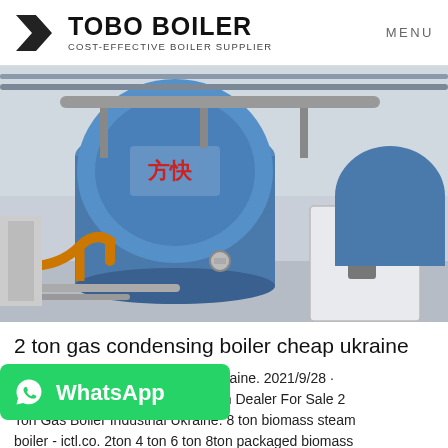TOBO BOILER COST-EFFECTIVE BOILER SUPPLIER | MENU
[Figure (photo): Industrial boiler facility showing large blue cylindrical gas condensing boilers with Chinese characters, piping, valves, and a white control cabinet with number 2 label, in a factory setting]
2 ton gas condensing boiler cheap ukraine
... Low Price Ukraine. 2021/9/28 · ...ciency 2 Ton Dealer For Sale 2 Ton Gas Boiler Industrial Ukraine. 8 ton biomass steam boiler - ictl.co. 2ton 4 ton 6 ton 8ton packaged biomass